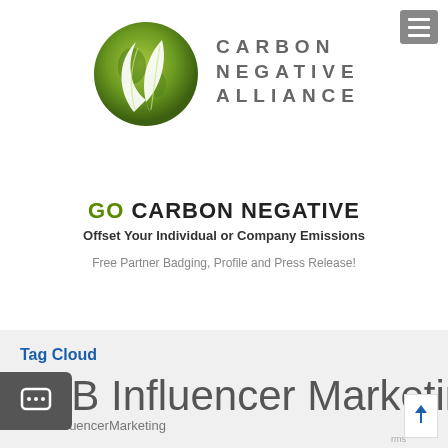[Figure (logo): Carbon Negative Alliance logo — green globe with white leaf shapes, and text CARBON NEGATIVE ALLIANCE in spaced gray letters]
GO CARBON NEGATIVE
Offset Your Individual or Company Emissions
Free Partner Badging, Profile and Press Release!
Tag Cloud
B2B Influencer Marketing
#B2BInfluencerMarketing
B2B Influencer Marketing